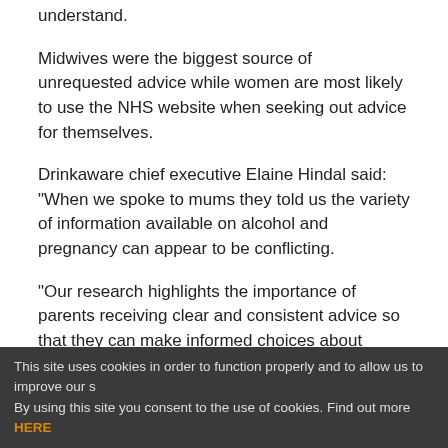understand.
Midwives were the biggest source of unrequested advice while women are most likely to use the NHS website when seeking out advice for themselves.
Drinkaware chief executive Elaine Hindal said: "When we spoke to mums they told us the variety of information available on alcohol and pregnancy can appear to be conflicting.
"Our research highlights the importance of parents receiving clear and consistent advice so that they can make informed choices about drinking alcohol during pregnancy. For many mums the current government guidelines do not go far enough."
Julia Brown, chief executive of charity The FASD Trust, said: "The health of the next generation continues to be put at a significant risk of being affected by FASD.
This site uses cookies in order to function properly and to allow us to improve our s By using this site you consent to the use of cookies. Find out more HERE